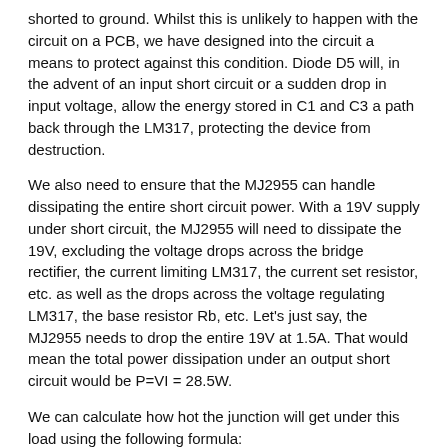shorted to ground. Whilst this is unlikely to happen with the circuit on a PCB, we have designed into the circuit a means to protect against this condition. Diode D5 will, in the advent of an input short circuit or a sudden drop in input voltage, allow the energy stored in C1 and C3 a path back through the LM317, protecting the device from destruction.
We also need to ensure that the MJ2955 can handle dissipating the entire short circuit power. With a 19V supply under short circuit, the MJ2955 will need to dissipate the 19V, excluding the voltage drops across the bridge rectifier, the current limiting LM317, the current set resistor, etc. as well as the drops across the voltage regulating LM317, the base resistor Rb, etc. Let's just say, the MJ2955 needs to drop the entire 19V at 1.5A. That would mean the total power dissipation under an output short circuit would be P=VI = 28.5W.
We can calculate how hot the junction will get under this load using the following formula:
Where: Tj = temperature at the junction